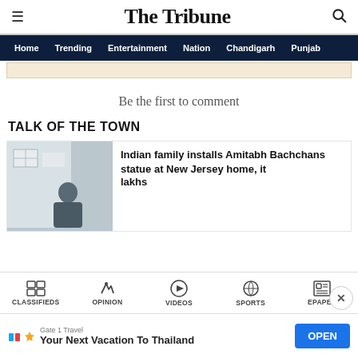The Tribune
Home  Trending  Entertainment  Nation  Chandigarh  Punjab
Be the first to comment
TALK OF THE TOWN
[Figure (photo): Photo of a person near a building, partially visible alongside an article card]
Indian family installs Amitabh Bachchans statue at New Jersey home, it costs lakhs
CLASSIFIEDS  OPINION  VIDEOS  SPORTS  EPAPER
Gate 1 Travel  Your Next Vacation To Thailand  OPEN